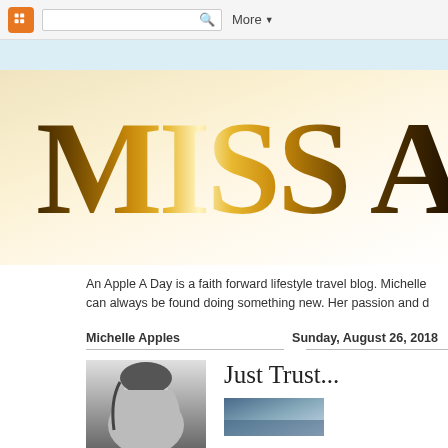Blogger navigation bar with search and More menu
[Figure (screenshot): Blog banner header showing large serif text 'MISS A' with golden shimmer effect on cream/warm background]
An Apple A Day is a faith forward lifestyle travel blog. Michelle can always be found doing something new. Her passion and d
Michelle Apples
Sunday, August 26, 2018
[Figure (photo): Black and white portrait photo of a young blonde woman]
Just Trust...
[Figure (photo): Small thumbnail image with blue/sky tones, partially visible]